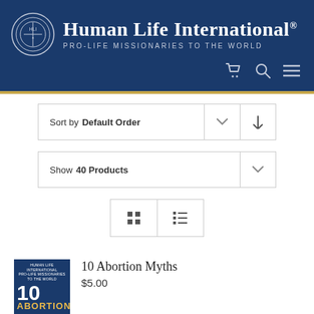[Figure (logo): Human Life International logo with circular emblem and text 'PRO-LIFE MISSIONARIES TO THE WORLD' with shopping cart, search, and menu icons]
Sort by Default Order
Show 40 Products
[Figure (other): Grid and list view toggle buttons]
[Figure (photo): Book cover: 10 Abortion Myths by Human Life International]
10 Abortion Myths
$5.00